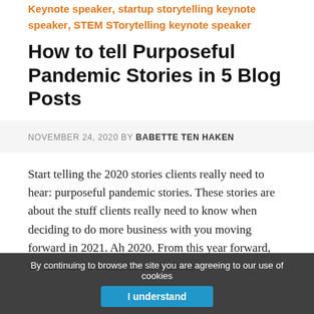Keynote speaker, startup storytelling keynote speaker, STEM STorytelling keynote speaker
How to tell Purposeful Pandemic Stories in 5 Blog Posts
NOVEMBER 24, 2020 BY BABETTE TEN HAKEN
Start telling the 2020 stories clients really need to hear: purposeful pandemic stories. These stories are about the stuff clients really need to know when deciding to do more business with you moving forward in 2021. Ah 2020. From this year forward, we all share a common story about
By continuing to browse the site you are agreeing to our use of cookies